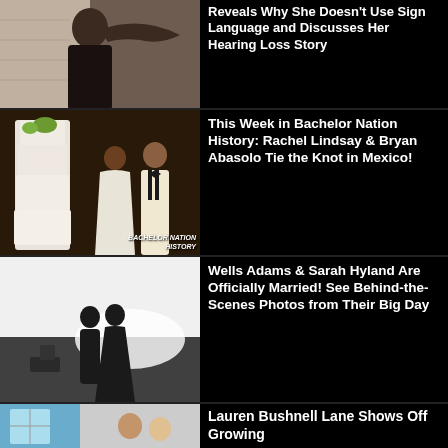[Figure (photo): Woman with dark hair from behind, black outfit, brick wall background]
Reveals Why She Doesn't Use Sign Language and Discusses Her Hearing Loss Story
[Figure (photo): Couple at wedding with large white floral cake, woman in beaded gown, man in tuxedo. BACHELOR NATION HISTORY watermark.]
This Week in Bachelor Nation History: Rachel Lindsay & Bryan Abasolo Tie the Knot in Mexico!
[Figure (photo): Black and white silhouette of couple kissing with bright backlight, outdoor evening setting]
Wells Adams & Sarah Hyland Are Officially Married! See Behind-the-Scenes Photos from Their Big Day
[Figure (photo): Couple indoors, casual setting, teal/blue room visible]
Lauren Bushnell Lane Shows Off Growing